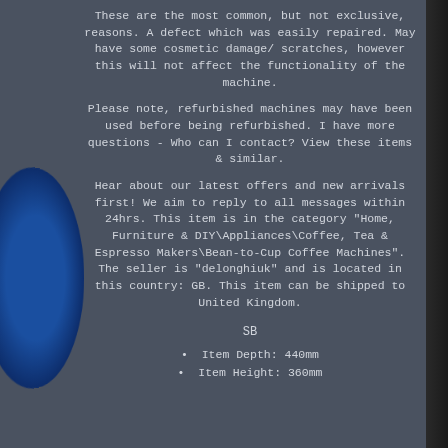These are the most common, but not exclusive, reasons. A defect which was easily repaired. May have some cosmetic damage/ scratches, however this will not affect the functionality of the machine.
Please note, refurbished machines may have been used before being refurbished. I have more questions - Who can I contact? View these items & similar.
Hear about our latest offers and new arrivals first! We aim to reply to all messages within 24hrs. This item is in the category "Home, Furniture & DIY\Appliances\Coffee, Tea & Espresso Makers\Bean-to-Cup Coffee Machines". The seller is "delonghiuk" and is located in this country: GB. This item can be shipped to United Kingdom.
SB
Item Depth: 440mm
Item Height: 360mm